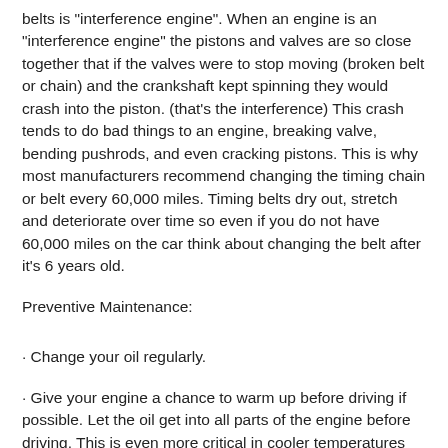belts is "interference engine". When an engine is an "interference engine" the pistons and valves are so close together that if the valves were to stop moving (broken belt or chain) and the crankshaft kept spinning they would crash into the piston. (that's the interference) This crash tends to do bad things to an engine, breaking valve, bending pushrods, and even cracking pistons. This is why most manufacturers recommend changing the timing chain or belt every 60,000 miles. Timing belts dry out, stretch and deteriorate over time so even if you do not have 60,000 miles on the car think about changing the belt after it's 6 years old.
Preventive Maintenance:
· Change your oil regularly.
· Give your engine a chance to warm up before driving if possible. Let the oil get into all parts of the engine before driving. This is even more critical in cooler temperatures